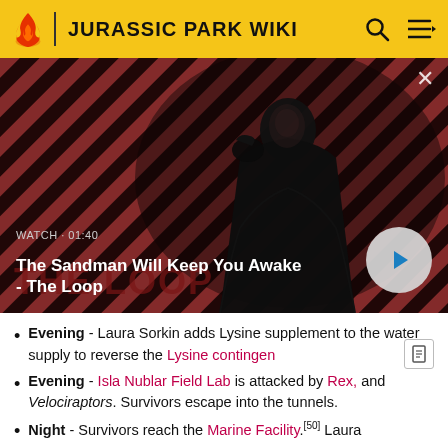JURASSIC PARK WIKI
[Figure (screenshot): Video thumbnail showing a dark-cloaked figure with a raven on shoulder against a diagonal red and black striped background, with 'THE LOOP' text overlay. Shows WATCH · 01:40 metadata and play button.]
The Sandman Will Keep You Awake - The Loop
Evening - Laura Sorkin adds Lysine supplement to the water supply to reverse the Lysine contingen
Evening - Isla Nublar Field Lab is attacked by Rex, and Velociraptors. Survivors escape into the tunnels.
Night - Survivors reach the Marine Facility.[50] Laura